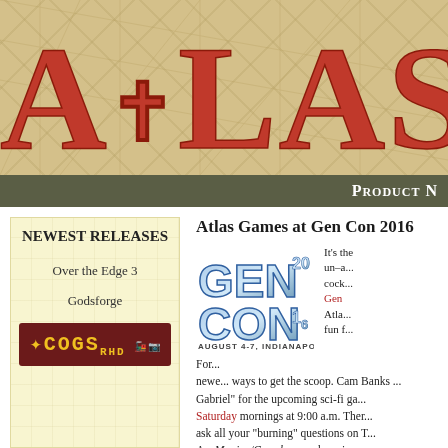[Figure (logo): Atlas Games website header banner with large red decorative text 'AtlasSGA' on a tan/parchment map background]
Product N
Newest Releases
Over the Edge 3
Godsforge
[Figure (logo): COGS RHD logo — dark red box with yellow text 'COGS RHD' and small icons]
Atlas Games at Gen Con 2016
[Figure (logo): Gen Con 2016 logo with stylized text 'GEN CON 16' and 'AUGUST 4-7, INDIANAPOLIS']
It's the un-a... cock... Gen... Atlas... fun f...
For... newe... ways to get the scoop. Cam Banks ... Gabriel" for the upcoming sci-fi ga... Saturday mornings at 9:00 a.m. Ther... ask all your "burning" questions on T... Ars Magica/Gumshoe mash-up in ... Thursday afternoon and Friday mor...